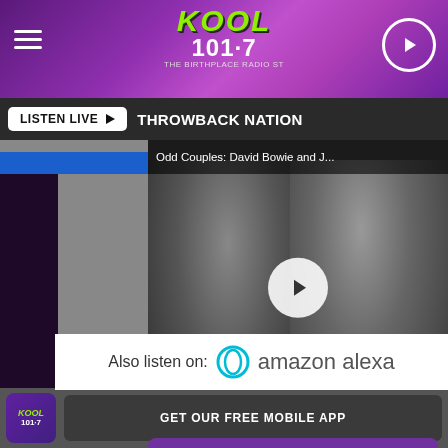[Figure (screenshot): KOOL 101.7 radio app screenshot showing header with purple gradient, hamburger menu, play button, logo]
LISTEN LIVE ▶  THROWBACK NATION
[Figure (screenshot): Video thumbnail: Odd Couples: David Bowie and J... - black and white photo of John Lennon and David Bowie with play button overlay and text ODD COUPLES: JOHN LENNON / DAVID BOWIE]
GET OUR FREE MOBILE APP
Also listen on:  amazon alexa
GET OUR FREE MOBILE APP